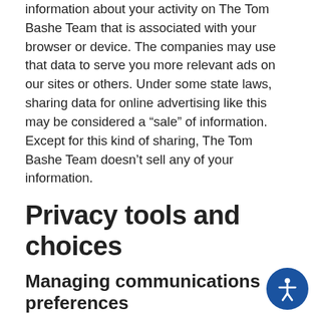information about your activity on The Tom Bashe Team that is associated with your browser or device. The companies may use that data to serve you more relevant ads on our sites or others. Under some state laws, sharing data for online advertising like this may be considered a “sale” of information. Except for this kind of sharing, The Tom Bashe Team doesn’t sell any of your information.
Privacy tools and choices
Managing communications preferences
Email subscriptions
The Tom Bashe Team may send you email for a variety of reasons. For example, if you save a search, we’ll send you emails with new homes on the market that match your search. If you save a home, we’ll keep you posted on status updates like when that home has an open